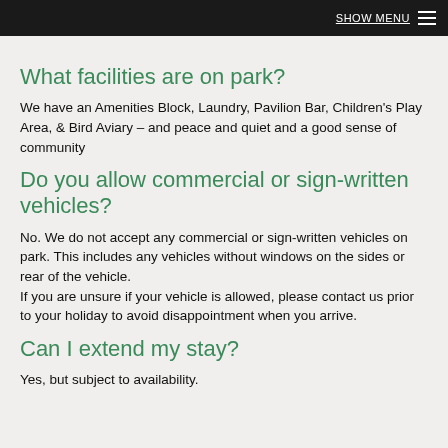SHOW MENU
What facilities are on park?
We have an Amenities Block, Laundry, Pavilion Bar, Children's Play Area, & Bird Aviary – and peace and quiet and a good sense of community
Do you allow commercial or sign-written vehicles?
No. We do not accept any commercial or sign-written vehicles on park. This includes any vehicles without windows on the sides or rear of the vehicle. If you are unsure if your vehicle is allowed, please contact us prior to your holiday to avoid disappointment when you arrive.
Can I extend my stay?
Yes, but subject to availability.